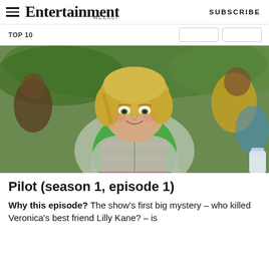Entertainment Weekly  SUBSCRIBE
TOP 10
[Figure (photo): A young blonde woman smiling, wearing a green hoodie jacket over a pink striped shirt, with blurred people sitting in the background outdoors.]
Pilot (season 1, episode 1)
Why this episode? The show's first big mystery – who killed Veronica's best friend Lilly Kane? – is